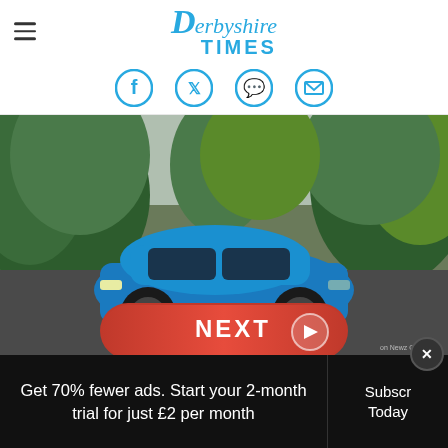Derbyshire Times
[Figure (illustration): Four circular social media icons in cyan/blue: Facebook, Twitter, WhatsApp, Email]
[Figure (photo): A blue hatchback car parked on a road surrounded by autumn/green trees, with a red NEXT button overlay and 'on Newz Online' label]
Get 70% fewer ads. Start your 2-month trial for just £2 per month
Subscribe Today